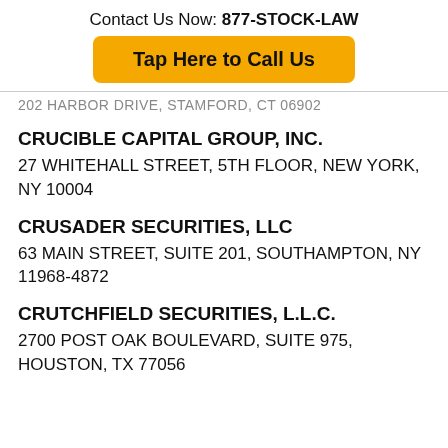Contact Us Now: 877-STOCK-LAW
Tap Here to Call Us
202 HARBOR DRIVE, STAMFORD, CT 06902
CRUCIBLE CAPITAL GROUP, INC.
27 WHITEHALL STREET, 5TH FLOOR, NEW YORK, NY 10004
CRUSADER SECURITIES, LLC
63 MAIN STREET, SUITE 201, SOUTHAMPTON, NY 11968-4872
CRUTCHFIELD SECURITIES, L.L.C.
2700 POST OAK BOULEVARD, SUITE 975, HOUSTON, TX 77056